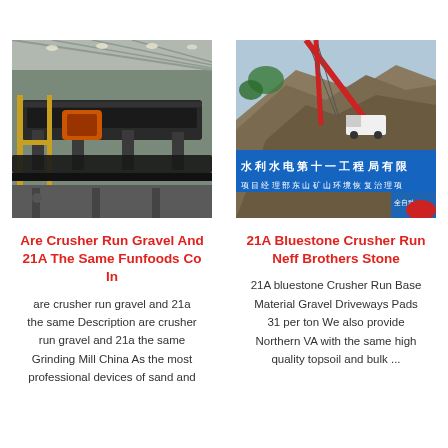[Figure (photo): Industrial conveyor belt machinery inside a large factory/warehouse with steel structure roof]
Are Crusher Run Gravel And 21A The Same Funfoods Co In
are crusher run gravel and 21a the same Description are crusher run gravel and 21a the same Grinding Mill China As the most professional devices of sand and
[Figure (photo): Construction site with cranes on rocky hillside, Chinese text banner sign reading water conservancy project]
21A Bluestone Crusher Run Neff Brothers Stone
21A bluestone Crusher Run Base Material Gravel Driveways Pads 31 per ton We also provide Northern VA with the same high quality topsoil and bulk ...